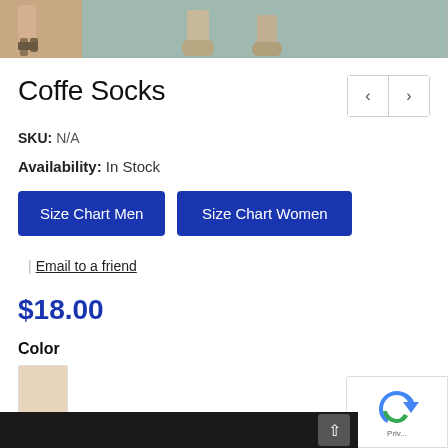[Figure (photo): Two cropped photos of legs wearing socks — left shows a person with ankle socks, right shows a person wearing beige/cream boots on a teal/grey floor.]
Coffe Socks
SKU: N/A
Availability: In Stock
Size Chart Men
Size Chart Women
Email to a friend
$18.00
Color
[Figure (other): Beige/cream color swatch square]
Gender